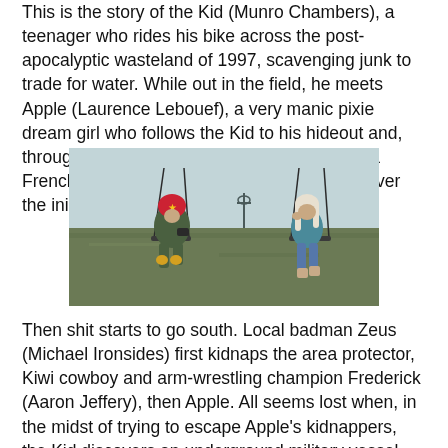This is the story of the Kid (Munro Chambers), a teenager who rides his bike across the post-apocalyptic wasteland of 1997, scavenging junk to trade for water. While out in the field, he meets Apple (Laurence Lebouef), a very manic pixie dream girl who follows the Kid to his hideout and, through her irrepressible joie de vivre (this is a French-Canadian production, after all), wins over the initially suspect Kid.
[Figure (photo): Two young people sitting on swings in a barren field. The person on the left wears a red helmet and green jacket, holding binoculars. The person on the right has long light hair and wears blue jeans.]
Then shit starts to go south. Local badman Zeus (Michael Ironsides) first kidnaps the area protector, Kiwi cowboy and arm-wrestling champion Frederick (Aaron Jeffery), then Apple. All seems lost when, in the midst of trying to escape Apple's kidnappers, the Kid discovers an underground military vessel left over from humanity's catastrophic war with